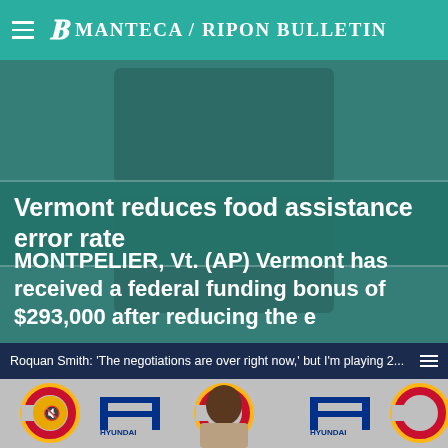Manteca / Ripon Bulletin
Vermont reduces food assistance error rate
MONTPELIER, Vt. (AP) Vermont has received a federal funding bonus of $293,000 after reducing the e
Roquan Smith: 'The negotiations are over right now,' but I'm playing 2...
[Figure (photo): Chicago Bears press conference with player at podium, Hyundai and Chicago Bears logos visible in background]